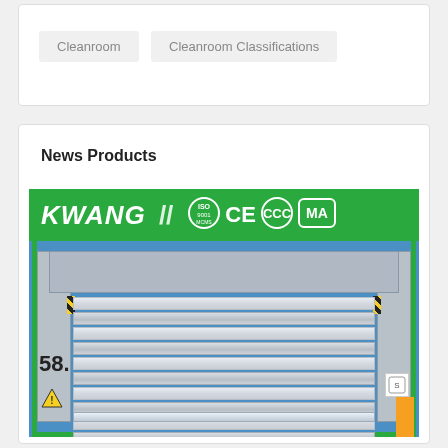Cleanroom
Cleanroom Classifications
News Products
[Figure (photo): KWANG branded industrial roll-up/roller shutter door with green frame, certifications (ISO 9001, CE, CCC, MA) shown on green header bar. Door features aluminum slats, side columns, warning stripes, and safety stickers.]